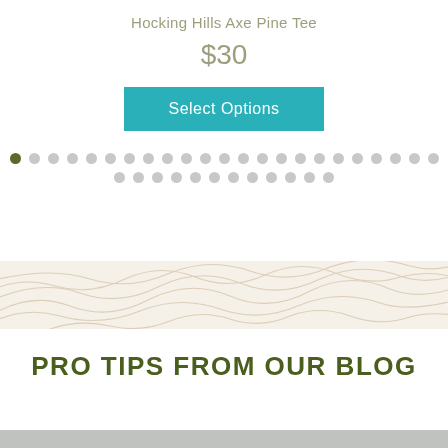Hocking Hills Axe Pine Tee
$30
Select Options
[Figure (other): Pagination dots: one dark olive dot followed by many light grey dots in two rows]
[Figure (illustration): Topographic contour line pattern banner strip in beige/tan on light background]
PRO TIPS FROM OUR BLOG